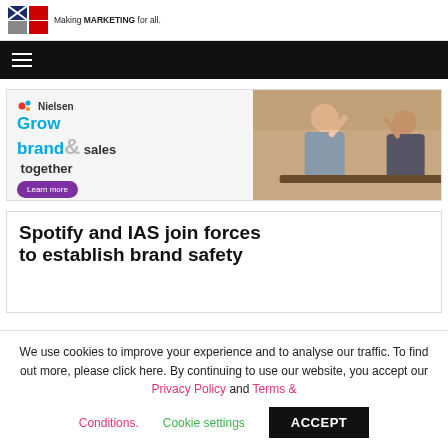Making MARKETING for all.
[Figure (advertisement): Nielsen advertisement: Grow brand & sales together. Learn more button. Photo of two people high-fiving.]
Spotify and IAS join forces to establish brand safety
We use cookies to improve your experience and to analyse our traffic. To find out more, please click here. By continuing to use our website, you accept our Privacy Policy and Terms & Conditions. Cookie settings ACCEPT